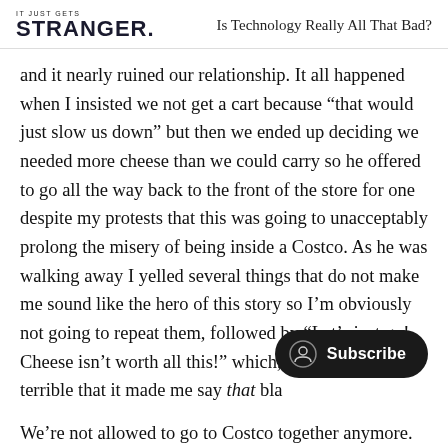IT JUST GETS STRANGER. | Is Technology Really All That Bad?
and it nearly ruined our relationship. It all happened when I insisted we not get a cart because “that would just slow us down” but then we ended up deciding we needed more cheese than we could carry so he offered to go all the way back to the front of the store for one despite my protests that this was going to unacceptably prolong the misery of being inside a Costco. As he was walking away I yelled several things that do not make me sound like the hero of this story so I’m obviously not going to repeat them, followed by “Let’s just go! Cheese isn’t worth all this!” which, yes, Costco is so terrible that it made me say that bla
We’re not allowed to go to Costco together anymore.